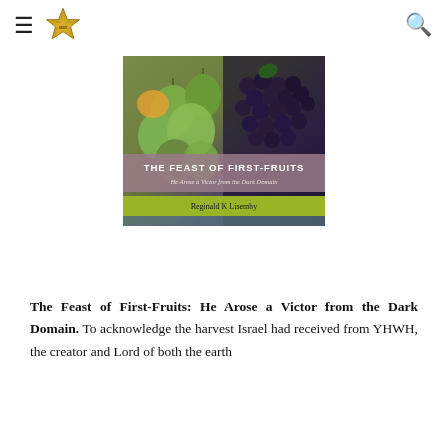≡ [Star of David logo] [Search icon]
[Figure (illustration): Book cover of 'The Feast of First-Fruits: He Arose a Victor from the Dark Domain' by Reginald K Lisemby, featuring a photograph of figs and grapes with title text overlay on a mauve/brown band and author name on a yellow-green band.]
The Feast of First-Fruits: He Arose a Victor from the Dark Domain. To acknowledge the harvest Israel had received from YHWH, the creator and Lord of both the earth and the sea, the Israelites were to bring to the